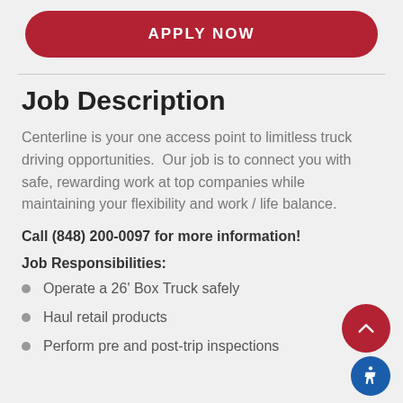[Figure (other): Red rounded rectangle button with white bold uppercase text 'APPLY NOW']
Job Description
Centerline is your one access point to limitless truck driving opportunities.  Our job is to connect you with safe, rewarding work at top companies while maintaining your flexibility and work / life balance.
Call (848) 200-0097 for more information!
Job Responsibilities:
Operate a 26' Box Truck safely
Haul retail products
Perform pre and post-trip inspections